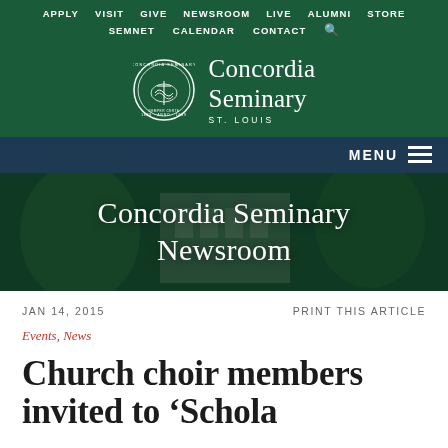APPLY  VISIT  GIVE  NEWSROOM  LIVE  ALUMNI  STORE  SEMNET  CALENDAR  CONTACT
[Figure (logo): Concordia Seminary St. Louis seal logo with text 'Concordia Seminary ST. LOUIS']
MENU
Concordia Seminary Newsroom
JAN 14, 2015
PRINT THIS ARTICLE
Events, News
Church choir members invited to 'Schola